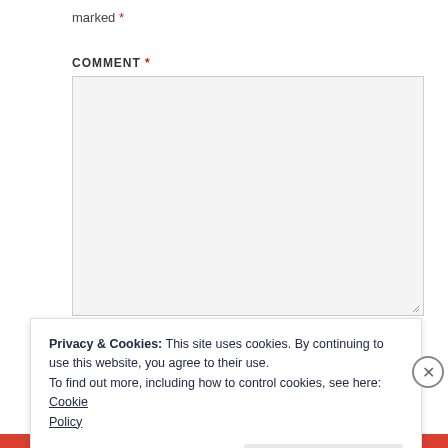marked *
COMMENT *
[Figure (screenshot): Empty textarea / comment input box with light gray background and resize handle]
NAME *
Privacy & Cookies: This site uses cookies. By continuing to use this website, you agree to their use.
To find out more, including how to control cookies, see here: Cookie Policy
Close and accept